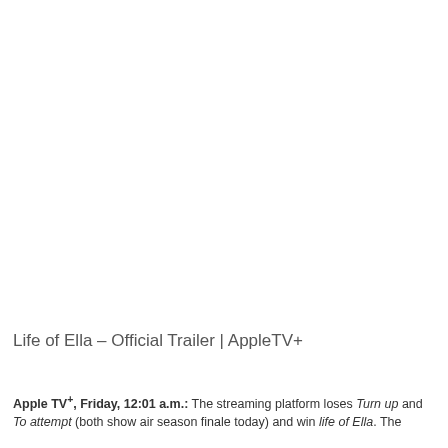[Figure (screenshot): Blank white area representing a video thumbnail or screenshot placeholder for the Life of Ella – Official Trailer on AppleTV+]
Life of Ella – Official Trailer | AppleTV+
Apple TV+, Friday, 12:01 a.m.: The streaming platform loses Turn up and To attempt (both show air season finale today) and win life of Ella. The